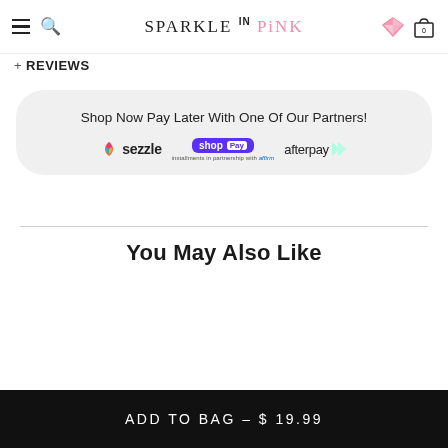SPARKLE IN PINK
+ REVIEWS
[Figure (infographic): Shop Now Pay Later banner with Sezzle, Shop Pay (installments in partnership with Affirm), and Afterpay logos]
You May Also Like
ADD TO BAG – $ 19.99